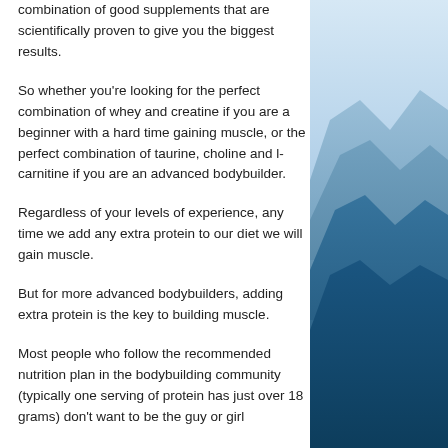combination of good supplements that are scientifically proven to give you the biggest results.
So whether you're looking for the perfect combination of whey and creatine if you are a beginner with a hard time gaining muscle, or the perfect combination of taurine, choline and l-carnitine if you are an advanced bodybuilder.
Regardless of your levels of experience, any time we add any extra protein to our diet we will gain muscle.
But for more advanced bodybuilders, adding extra protein is the key to building muscle.
Most people who follow the recommended nutrition plan in the bodybuilding community (typically one serving of protein has just over 18 grams) don't want to be the guy or girl
[Figure (photo): Blue mountain landscape photo used as decorative background on the right side of the page]